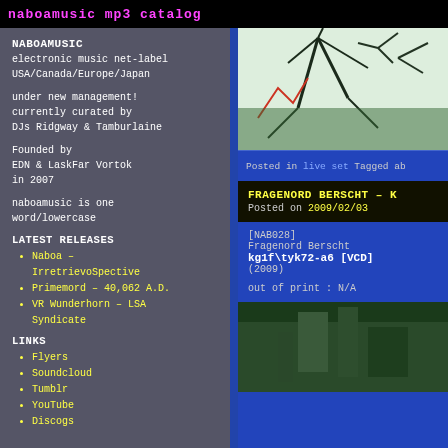naboamusic mp3 catalog
NABOAMUSIC
electronic music net-label
USA/Canada/Europe/Japan
under new management!
currently curated by
DJs Ridgway & Tamburlaine
Founded by
EDN & LaskFar Vortok
in 2007
naboamusic is one
word/lowercase
LATEST RELEASES
Naboa – IrretrievoSpective
Primemord – 40,062 A.D.
VR Wunderhorn – LSA Syndicate
LINKS
Flyers
Soundcloud
Tumblr
YouTube
Discogs
[Figure (photo): Abstract photo with dark lines/shapes on light background, appears to be an outdoor scene with antenna or tree branches]
Posted in live set Tagged ab
FRAGENORD BERSCHT – K
Posted on 2009/02/03
[NAB028]
Fragenord Berscht
kg1f\tyk72-a6 [VCD]
(2009)
out of print : N/A
[Figure (photo): Dark green photo, appears to be an outdoor scene]